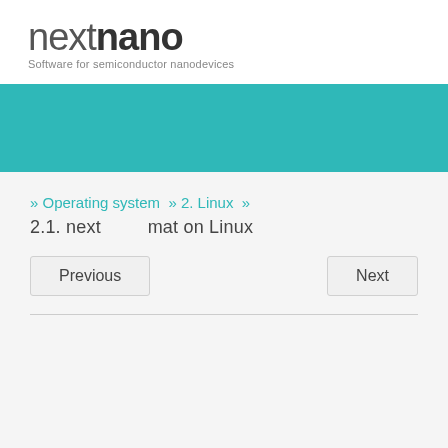[Figure (logo): nextnano logo with tagline 'Software for semiconductor nanodevices']
» Operating system  » 2. Linux  »
2.1. next        mat on Linux
Previous
Next